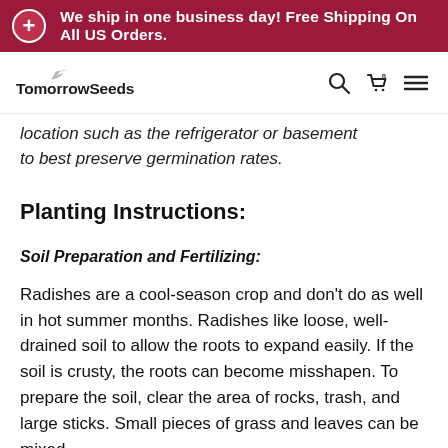We ship in one business day! Free Shipping On All US Orders.
[Figure (logo): TomorrowSeeds logo with a small bird icon above the text]
location such as the refrigerator or basement to best preserve germination rates.
Planting Instructions:
Soil Preparation and Fertilizing:
Radishes are a cool-season crop and don't do as well in hot summer months. Radishes like loose, well-drained soil to allow the roots to expand easily. If the soil is crusty, the roots can become misshapen. To prepare the soil, clear the area of rocks, trash, and large sticks. Small pieces of grass and leaves can be mixed